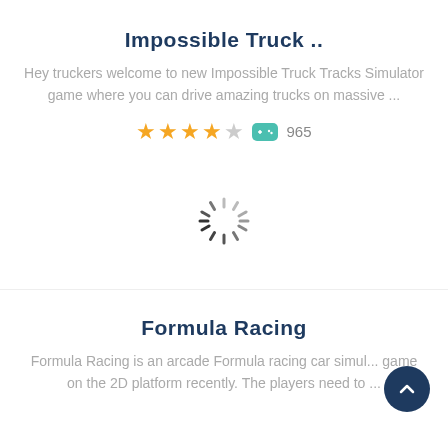Impossible Truck ..
Hey truckers welcome to new Impossible Truck Tracks Simulator game where you can drive amazing trucks on massive ...
[Figure (other): Star rating showing 4 out of 5 stars (golden), a teal game controller icon, and play count of 965]
[Figure (other): Loading spinner animation]
Formula Racing
Formula Racing is an arcade Formula racing car simul... game on the 2D platform recently. The players need to ...